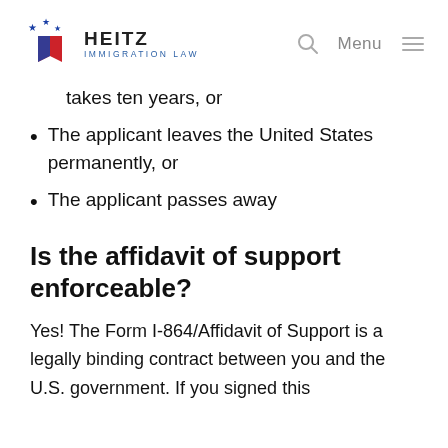HEITZ IMMIGRATION LAW
takes ten years, or
The applicant leaves the United States permanently, or
The applicant passes away
Is the affidavit of support enforceable?
Yes! The Form I-864/Affidavit of Support is a legally binding contract between you and the U.S. government. If you signed this